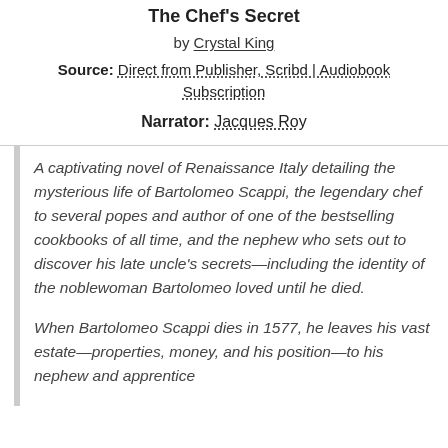The Chef's Secret
by Crystal King
Source: Direct from Publisher, Scribd | Audiobook Subscription
Narrator: Jacques Roy
A captivating novel of Renaissance Italy detailing the mysterious life of Bartolomeo Scappi, the legendary chef to several popes and author of one of the bestselling cookbooks of all time, and the nephew who sets out to discover his late uncle's secrets—including the identity of the noblewoman Bartolomeo loved until he died.
When Bartolomeo Scappi dies in 1577, he leaves his vast estate—properties, money, and his position—to his nephew and apprentice